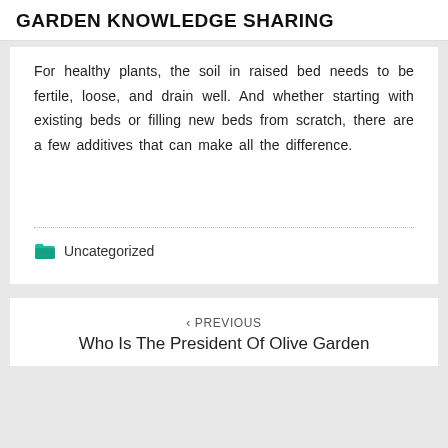GARDEN KNOWLEDGE SHARING
For healthy plants, the soil in raised bed needs to be fertile, loose, and drain well. And whether starting with existing beds or filling new beds from scratch, there are a few additives that can make all the difference.
Uncategorized
< PREVIOUS
Who Is The President Of Olive Garden